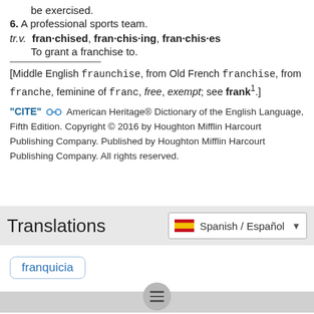be exercised.
6. A professional sports team.
tr.v. franchised, franchising, franchises
To grant a franchise to.
[Middle English fraunchise, from Old French franchise, from franche, feminine of franc, free, exempt; see frank1.]
"CITE" American Heritage® Dictionary of the English Language, Fifth Edition. Copyright © 2016 by Houghton Mifflin Harcourt Publishing Company. Published by Houghton Mifflin Harcourt Publishing Company. All rights reserved.
Translations
Spanish / Español
franquicia